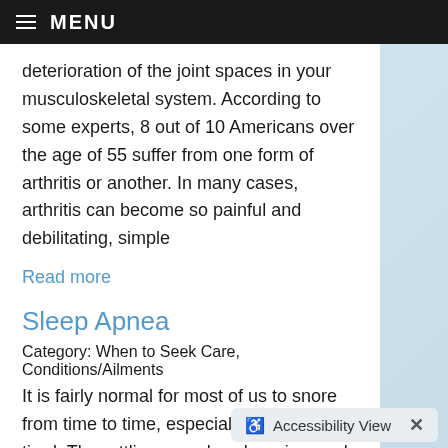MENU
deterioration of the joint spaces in your musculoskeletal system. According to some experts, 8 out of 10 Americans over the age of 55 suffer from one form of arthritis or another. In many cases, arthritis can become so painful and debilitating, simple
Read more
Sleep Apnea
Category: When to Seek Care, Conditions/Ailments
It is fairly normal for most of us to snore from time to time, especially if we are tired. The rattling sound we hear in people who snore is actually caused by the tissues in your throat, such as the soft palate and uvula, vibrating. Some people, however, actually have a minor defect in their throat
Accessibility View